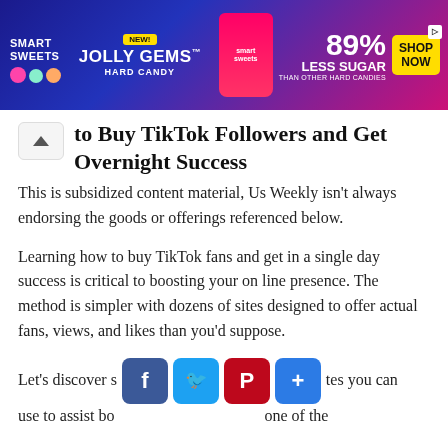[Figure (other): Smart Sweets Jolly Gems Hard Candy advertisement banner. Dark blue and pink gradient background. Shows 89% Less Sugar than other hard candies. Shop Now button in yellow.]
to Buy TikTok Followers and Get Overnight Success
This is subsidized content material, Us Weekly isn't always endorsing the goods or offerings referenced below.
Learning how to buy TikTok fans and get in a single day success is critical to boosting your on line presence. The method is simpler with dozens of sites designed to offer actual fans, views, and likes than you'd suppose.
Let's discover s tes you can use to assist bo one of the